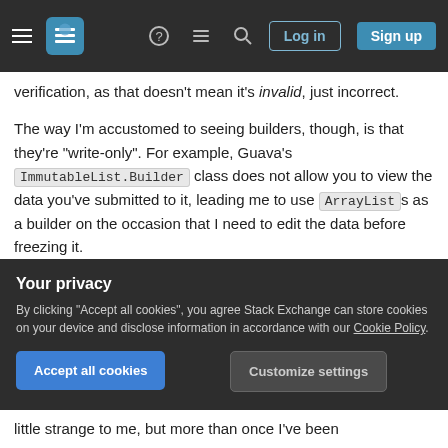Stack Exchange navigation bar with hamburger menu, logo, help, chat, search icons, Log in and Sign up buttons
verification, as that doesn't mean it's invalid, just incorrect.
The way I'm accustomed to seeing builders, though, is that they're "write-only". For example, Guava's ImmutableList.Builder class does not allow you to view the data you've submitted to it, leading me to use ArrayLists as a builder on the occasion that I need to edit the data before freezing it.
Alternatively, I suppose I could just go ahead and build my objects with errors in them, then create a
Your privacy
By clicking "Accept all cookies", you agree Stack Exchange can store cookies on your device and disclose information in accordance with our Cookie Policy.
Accept all cookies
Customize settings
little strange to me, but more than once I've been